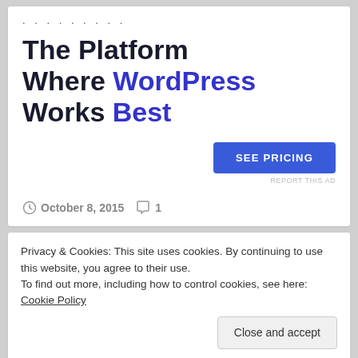. . . . . . . . .
The Platform Where WordPress Works Best
[Figure (other): SEE PRICING button - blue rectangular CTA button]
REPORT THIS AD
October 8, 2015   1
Privacy & Cookies: This site uses cookies. By continuing to use this website, you agree to their use.
To find out more, including how to control cookies, see here: Cookie Policy
Close and accept